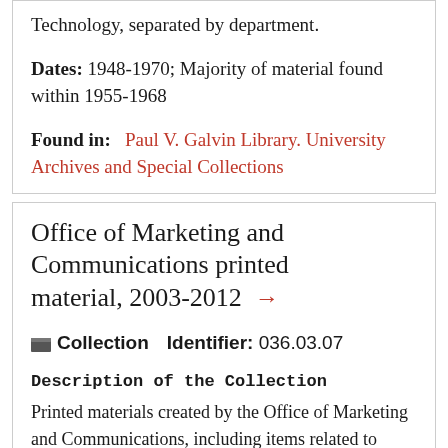Technology, separated by department.
Dates: 1948-1970; Majority of material found within 1955-1968
Found in: Paul V. Galvin Library. University Archives and Special Collections
Office of Marketing and Communications printed material, 2003-2012 →
Collection   Identifier: 036.03.07
Description of the Collection
Printed materials created by the Office of Marketing and Communications, including items related to student recruitment,